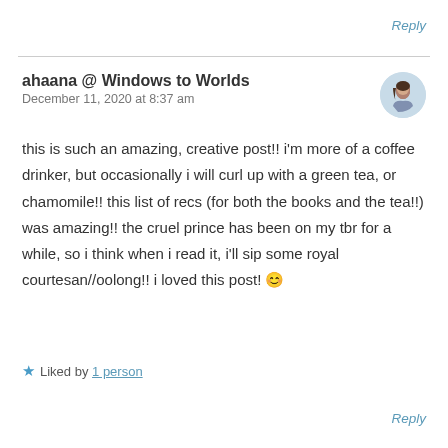Reply
ahaana @ Windows to Worlds
December 11, 2020 at 8:37 am
this is such an amazing, creative post!! i'm more of a coffee drinker, but occasionally i will curl up with a green tea, or chamomile!! this list of recs (for both the books and the tea!!) was amazing!! the cruel prince has been on my tbr for a while, so i think when i read it, i'll sip some royal courtesan//oolong!! i loved this post! 😊
★ Liked by 1 person
Reply